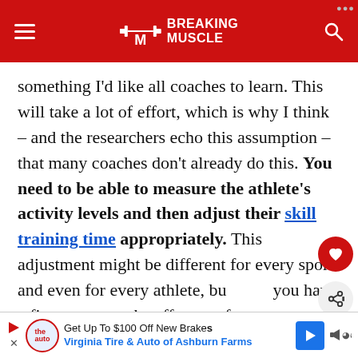BREAKING MUSCLE
something I’d like all coaches to learn. This will take a lot of effort, which is why I think – and the researchers echo this assumption – that many coaches don’t already do this. You need to be able to measure the athlete’s activity levels and then adjust their skill training time appropriately. This adjustment might be different for every sport and even for every athlete, but you have a firm grasp on the effort put forth by the athletes and you determine what they need to improve further, then you have attained the re...
[Figure (other): Advertisement banner: Get Up To $100 Off New Brakes - Virginia Tire & Auto of Ashburn Farms]